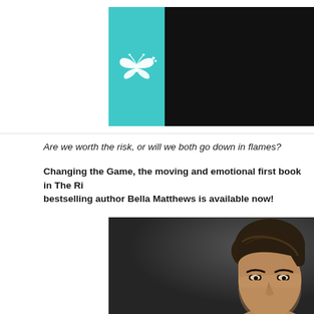[Figure (illustration): Top banner with teal box containing butterfly logo on left and dark/black panel on right]
Are we worth the risk, or will we both go down in flames?
Changing the Game, the moving and emotional first book in The Ri... bestselling author Bella Matthews is available now!
[Figure (photo): Portrait photo of a man with dark styled hair against a dark grey background, cropped to show head and upper face area]